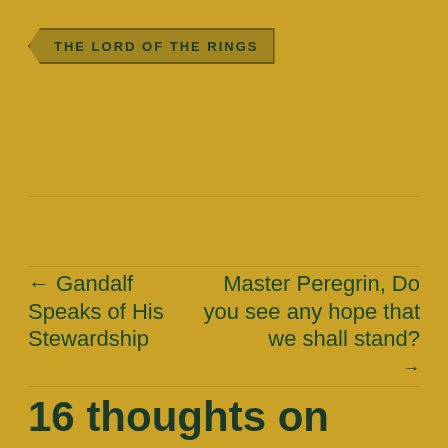THE LORD OF THE RINGS
← Gandalf Speaks of His Stewardship
Master Peregrin, Do you see any hope that we shall stand? →
16 thoughts on “Gandalf